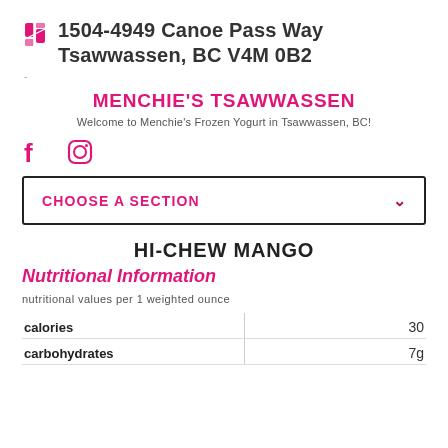1504-4949 Canoe Pass Way Tsawwassen, BC V4M 0B2
MENCHIE'S TSAWWASSEN
Welcome to Menchie's Frozen Yogurt in Tsawwassen, BC!
[Figure (illustration): Facebook and Instagram social media icons]
CHOOSE A SECTION
HI-CHEW MANGO
Nutritional Information
nutritional values per 1 weighted ounce
|  |  |
| --- | --- |
| calories | 30 |
| carbohydrates | 7g |